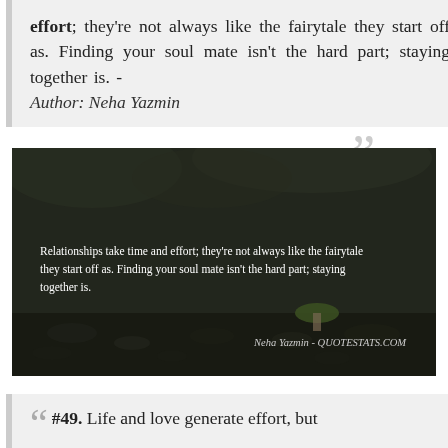effort; they're not always like the fairytale they start off as. Finding your soul mate isn't the hard part; staying together is. - Author: Neha Yazmin
[Figure (photo): Dark nature background photo with quote text overlay reading: 'Relationships take time and effort; they're not always like the fairytale they start off as. Finding your soul mate isn't the hard part; staying together is.' attributed to Neha Yazmin - QUOTESTATS.COM]
#49. Life and love generate effort, but